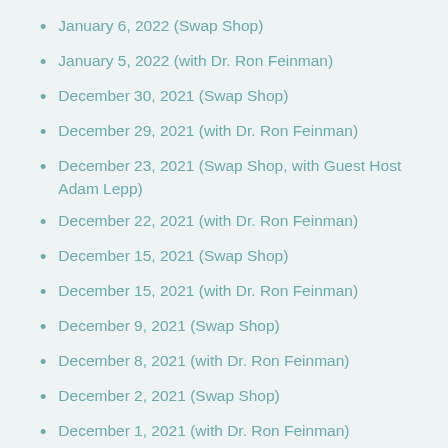January 6, 2022 (Swap Shop)
January 5, 2022 (with Dr. Ron Feinman)
December 30, 2021 (Swap Shop)
December 29, 2021 (with Dr. Ron Feinman)
December 23, 2021 (Swap Shop, with Guest Host Adam Lepp)
December 22, 2021 (with Dr. Ron Feinman)
December 15, 2021 (Swap Shop)
December 15, 2021 (with Dr. Ron Feinman)
December 9, 2021 (Swap Shop)
December 8, 2021 (with Dr. Ron Feinman)
December 2, 2021 (Swap Shop)
December 1, 2021 (with Dr. Ron Feinman)
November 24, 2021 (with Dr. Ron Feinman)